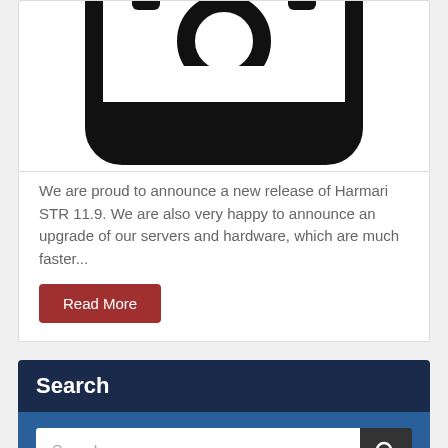[Figure (illustration): Black icon of a server or hardware unit with rounded rectangle outline and a circular element in the center top, partially visible at top of card]
We are proud to announce a new release of Harmari STR 11.9. We are also very happy to announce an upgrade of our servers and hardware, which are much faster...
Read More
Search
Search
Popular  Recent  Comments